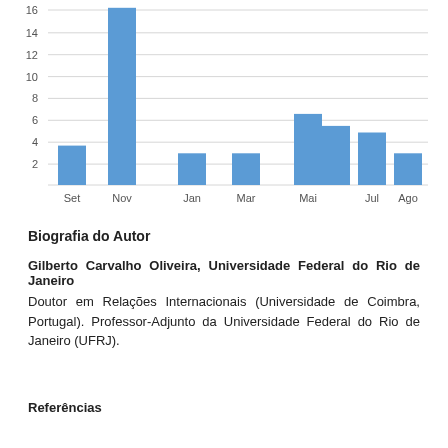[Figure (bar-chart): ]
Biografia do Autor
Gilberto Carvalho Oliveira, Universidade Federal do Rio de Janeiro
Doutor em Relações Internacionais (Universidade de Coimbra, Portugal). Professor-Adjunto da Universidade Federal do Rio de Janeiro (UFRJ).
Referências